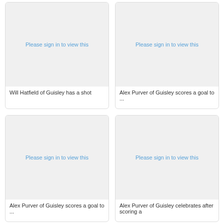[Figure (photo): Placeholder image - Please sign in to view this]
Will Hatfield of Guisley has a shot
[Figure (photo): Placeholder image - Please sign in to view this]
Alex Purver of Guisley scores a goal to ...
[Figure (photo): Placeholder image - Please sign in to view this]
Alex Purver of Guisley scores a goal to ...
[Figure (photo): Placeholder image - Please sign in to view this]
Alex Purver of Guisley celebrates after scoring a